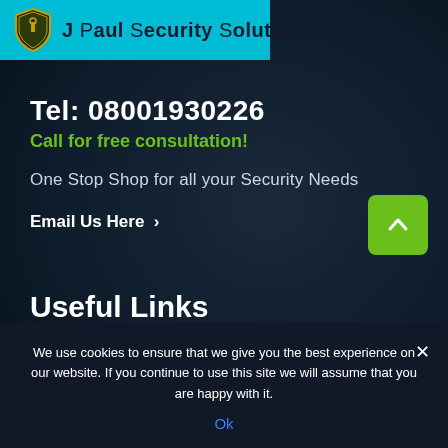[Figure (logo): J Paul Security Solutions logo with shield icon on cyan/teal background banner]
Tel: 08001930226
Call for free consultation!
One Stop Shop for all your Security Needs
Email Us Here >
Useful Links
We use cookies to ensure that we give you the best experience on our website. If you continue to use this site we will assume that you are happy with it.
Ok